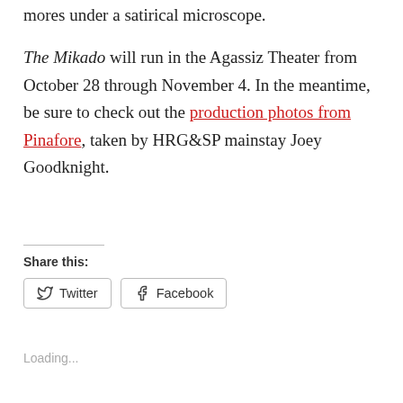mores under a satirical microscope.
The Mikado will run in the Agassiz Theater from October 28 through November 4. In the meantime, be sure to check out the production photos from Pinafore, taken by HRG&SP mainstay Joey Goodknight.
Share this:
Twitter  Facebook
Loading...